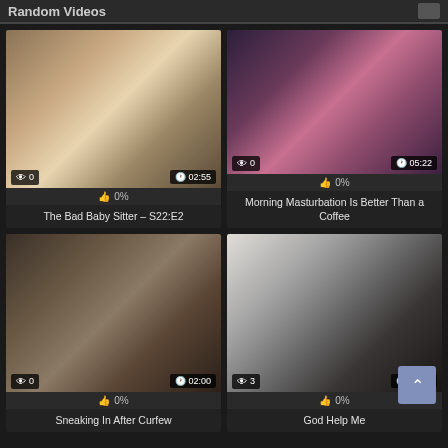Random Videos
[Figure (photo): Video thumbnail for The Bad Baby Sitter – S22:E2, showing views: 0, duration: 02:55, likes: 0%]
The Bad Baby Sitter – S22:E2
[Figure (photo): Video thumbnail for Morning Masturbation Is Better Than a Coffee, showing views: 0, duration: 05:22, likes: 0%]
Morning Masturbation Is Better Than a Coffee
[Figure (photo): Video thumbnail for Sneaking In After Curfew, showing views: 0, duration: 02:00, likes: 0%]
Sneaking In After Curfew
[Figure (photo): Video thumbnail for God Help Me, showing views: 3, duration: 02:00, likes: 0%]
God Help Me